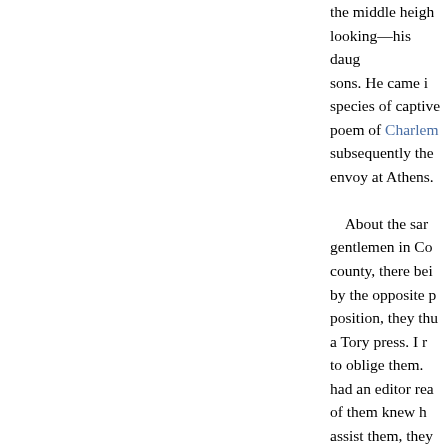the middle heigh looking—his daug sons. He came i species of captive poem of Charlemagne subsequently the envoy at Athens.

About the sar gentlemen in Co county, there bei by the opposite p position, they thu a Tory press. I r to oblige them. had an editor rea of them knew h assist them, they town who would their position. I